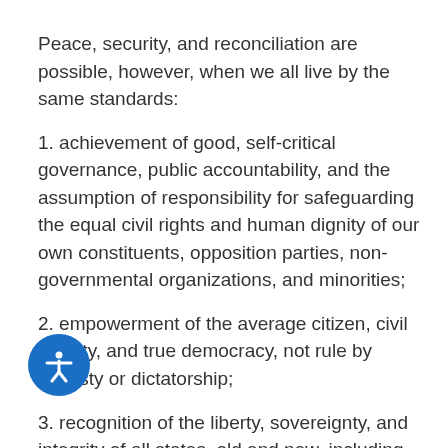Peace, security, and reconciliation are possible, however, when we all live by the same standards:
1. achievement of good, self-critical governance, public accountability, and the assumption of responsibility for safeguarding the equal civil rights and human dignity of our own constituents, opposition parties, non-governmental organizations, and minorities;
2. empowerment of the average citizen, civil society, and true democracy, not rule by dynasty or dictatorship;
3. recognition of the liberty, sovereignty, and integrity of all states, old and new, including the Republic of Mountainous Karabagh, whose return to the status quo ante is impossible, but rather whose recognition within its international frontiers will enable a simultaneous, multilateral, and reciprocal right of return for all refugees of